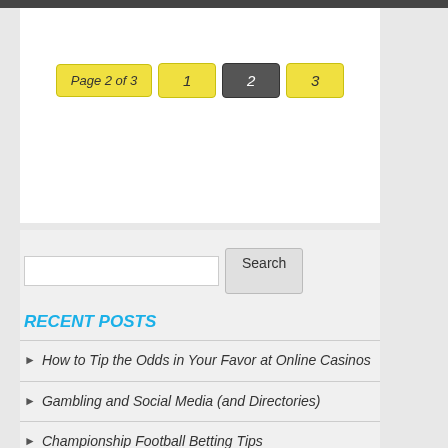Page 2 of 3  1  2  3
Search
RECENT POSTS
How to Tip the Odds in Your Favor at Online Casinos
Gambling and Social Media (and Directories)
Championship Football Betting Tips